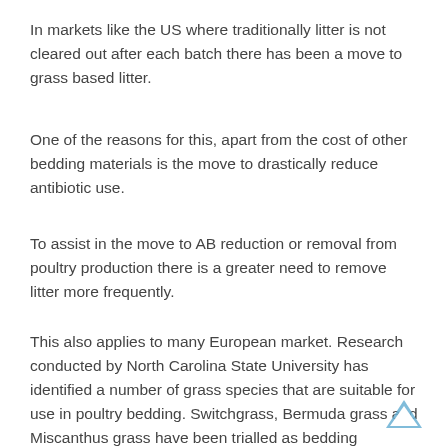In markets like the US where traditionally litter is not cleared out after each batch there has been a move to grass based litter.
One of the reasons for this, apart from the cost of other bedding materials is the move to drastically reduce antibiotic use.
To assist in the move to AB reduction or removal from poultry production there is a greater need to remove litter more frequently.
This also applies to many European market. Research conducted by North Carolina State University has identified a number of grass species that are suitable for use in poultry bedding. Switchgrass, Bermuda grass and Miscanthus grass have been trialled as bedding materials for broilers and turkeys.